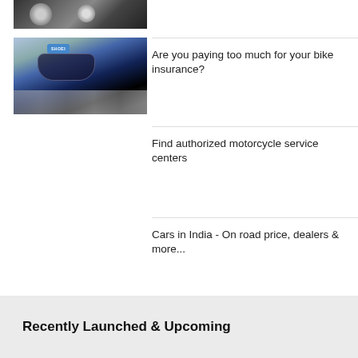[Figure (photo): Motorcycle speedometer/dashboard close-up photo]
[Figure (photo): Black Shoei motorcycle helmet on stone background]
Are you paying too much for your bike insurance?
Find authorized motorcycle service centers
Cars in India - On road price, dealers & more...
Recently Launched & Upcoming